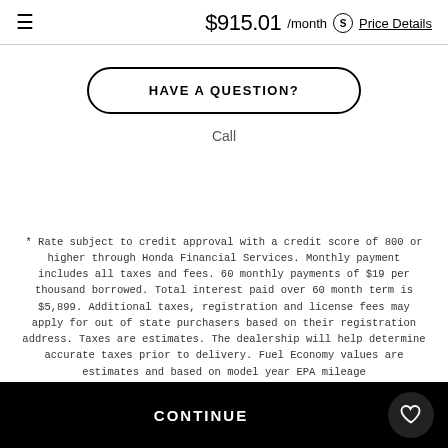$915.01 /month  Price Details
HAVE A QUESTION?
Call
* Rate subject to credit approval with a credit score of 800 or higher through Honda Financial Services. Monthly payment includes all taxes and fees. 60 monthly payments of $19 per thousand borrowed. Total interest paid over 60 month term is $5,899. Additional taxes, registration and license fees may apply for out of state purchasers based on their registration address. Taxes are estimates. The dealership will help determine accurate taxes prior to delivery. Fuel Economy values are estimates and based on model year EPA mileage
CONTINUE